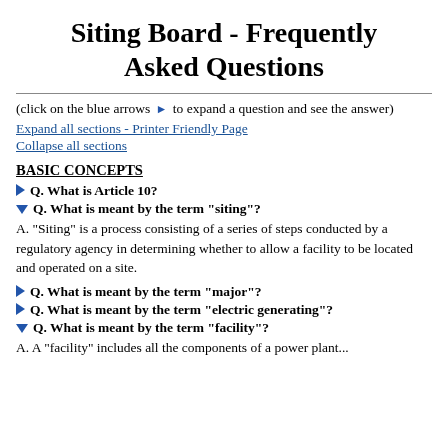Siting Board - Frequently Asked Questions
(click on the blue arrows ▶ to expand a question and see the answer)
Expand all sections - Printer Friendly Page
Collapse all sections
BASIC CONCEPTS
Q. What is Article 10?
Q. What is meant by the term "siting"?
A. "Siting" is a process consisting of a series of steps conducted by a regulatory agency in determining whether to allow a facility to be located and operated on a site.
Q. What is meant by the term "major"?
Q. What is meant by the term "electric generating"?
Q. What is meant by the term "facility"?
A. A "facility" includes all the components of a power plant...